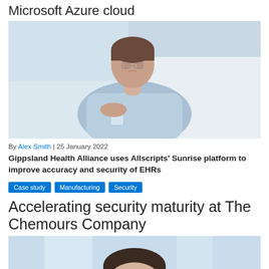Microsoft Azure cloud
[Figure (photo): Person in hospital gown sitting in hospital bed, looking concerned, holding a cup]
By Alex Smith | 25 January 2022
Gippsland Health Alliance uses Allscripts' Sunrise platform to improve accuracy and security of EHRs
Case study
Manufacturing
Security
Accelerating security maturity at The Chemours Company
[Figure (photo): Person in professional setting, partial view from below chin]